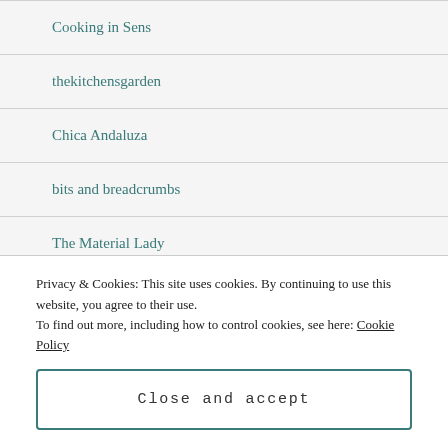Cooking in Sens
thekitchensgarden
Chica Andaluza
bits and breadcrumbs
The Material Lady
Back Road Journal
Promenade Plantings
Privacy & Cookies: This site uses cookies. By continuing to use this website, you agree to their use.
To find out more, including how to control cookies, see here: Cookie Policy
Close and accept